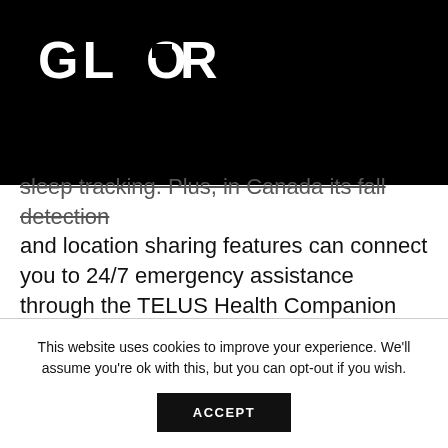[Figure (logo): GLORY logo in white bold text on black background]
sleep tracking. Plus, in Canada its fall detection and location sharing features can connect you to 24/7 emergency assistance through the TELUS Health Companion service. From $529
This website uses cookies to improve your experience. We'll assume you're ok with this, but you can opt-out if you wish. ACCEPT